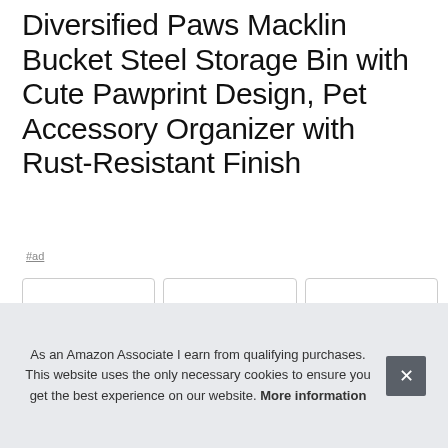Diversified Paws Macklin Bucket Steel Storage Bin with Cute Pawprint Design, Pet Accessory Organizer with Rust-Resistant Finish
#ad
[Figure (photo): Three product images: (1) a Yorkshire Terrier dog sitting inside a grey metal wire bucket with paw print embossing; (2) front view of the grey metal wire storage bin/basket showing grid mesh construction; (3) side view of the grey metal storage bin showing paw print embossed design and handles]
Spe
long
As an Amazon Associate I earn from qualifying purchases. This website uses the only necessary cookies to ensure you get the best experience on our website. More information